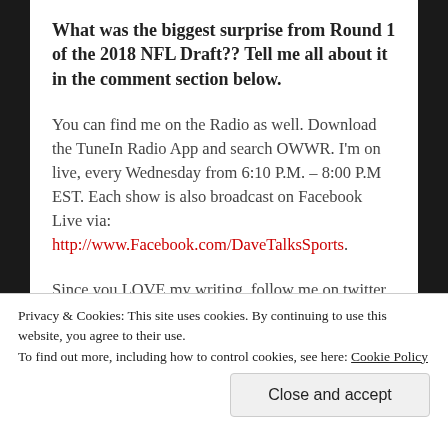What was the biggest surprise from Round 1 of the 2018 NFL Draft?? Tell me all about it in the comment section below.
You can find me on the Radio as well. Download the TuneIn Radio App and search OWWR. I'm on live, every Wednesday from 6:10 P.M. – 8:00 P.M EST. Each show is also broadcast on Facebook Live via: http://www.Facebook.com/DaveTalksSports.
Since you LOVE my writing, follow me on twitter
Privacy & Cookies: This site uses cookies. By continuing to use this website, you agree to their use.
To find out more, including how to control cookies, see here: Cookie Policy
Close and accept